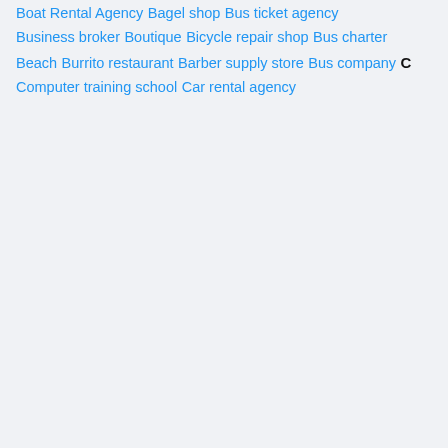Boat Rental Agency
Bagel shop
Bus ticket agency
Business broker
Boutique
Bicycle repair shop
Bus charter
Beach
Burrito restaurant
Barber supply store
Bus company
C
Computer training school
Car rental agency